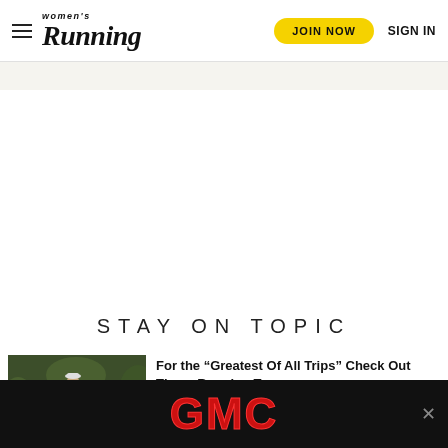Women's Running — JOIN NOW   SIGN IN
STAY ON TOPIC
[Figure (photo): Runner on trail with animals in a natural outdoor setting]
For the “Greatest Of All Trips” Check Out These Running Tours
[Figure (logo): GMC advertisement banner at bottom of page]